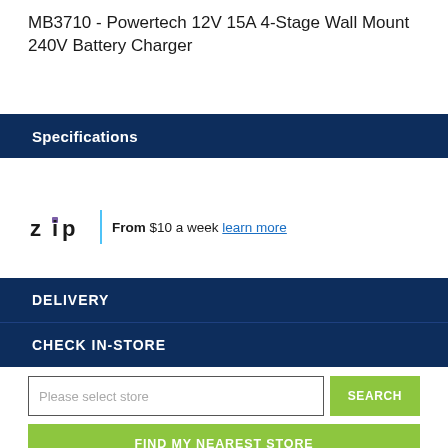MB3710 - Powertech 12V 15A 4-Stage Wall Mount 240V Battery Charger
Specifications
From $10 a week learn more
DELIVERY
CHECK IN-STORE
Please select store
SEARCH
FIND MY NEAREST STORE